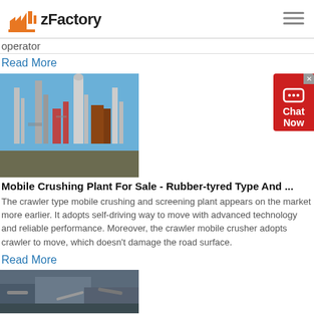zFactory
operator
Read More
[Figure (photo): Industrial mobile crushing plant with towers and equipment against a blue sky]
Mobile Crushing Plant For Sale - Rubber-tyred Type And ...
The crawler type mobile crushing and screening plant appears on the market more earlier. It adopts self-driving way to move with advanced technology and reliable performance. Moreover, the crawler mobile crusher adopts crawler to move, which doesn't damage the road surface.
Read More
[Figure (photo): Another industrial crushing plant machinery seen from below at an angle]